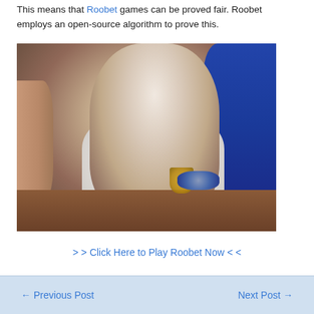This means that Roobet games can be proved fair. Roobet employs an open-source algorithm to prove this.
[Figure (photo): A woman in a white shirt sitting at a poker/gambling table with chips and a glass, resting her chin on her hand. A man in a blue sweater is visible on the right side.]
>> Click Here to Play Roobet Now <<
← Previous Post    Next Post →